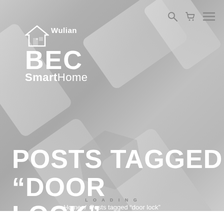[Figure (screenshot): Wulian BEC SmartHome website header with background showing smart home devices (switches, panels) arranged diagonally on a grey background. Navigation icons (search, cart, menu) visible top right.]
POSTS TAGGED “DOOR LOCK”
LOADING
Home / Posts tagged “door lock”